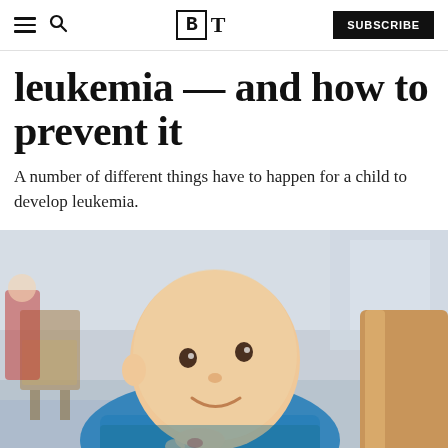BT | SUBSCRIBE
leukemia — and how to prevent it
A number of different things have to happen for a child to develop leukemia.
[Figure (photo): A bald child (likely undergoing chemotherapy) smiling and looking at the camera while leaning over what appears to be a wooden furniture piece in a hospital or clinical setting. The child is wearing a blue shirt. The background shows a blurred hospital room interior.]